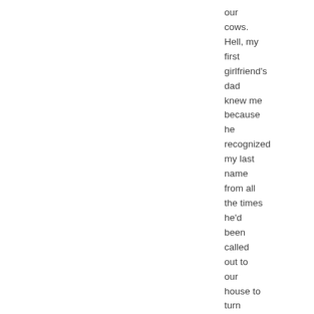our cows. Hell, my first girlfriend's dad knew me because he recognized my last name from all the times he'd been called out to our house to turn offÂ the electricity for delinquency.Â Â Â cavernous maw of